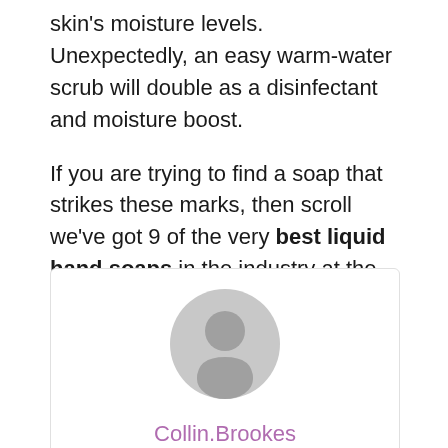skin's moisture levels. Unexpectedly, an easy warm-water scrub will double as a disinfectant and moisture boost.

If you are trying to find a soap that strikes these marks, then scroll we've got 9 of the very best liquid hand soaps in the industry at the moment.
[Figure (illustration): A user profile card with a generic grey avatar icon (person silhouette) and the username 'Collin.Brookes' displayed in purple/mauve text below the avatar.]